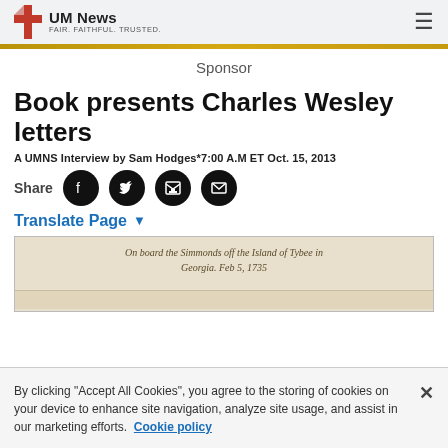UM News FAIR. FAITHFUL. TRUSTED.
Sponsor
Book presents Charles Wesley letters
A UMNS Interview by Sam Hodges*7:00 A.M ET Oct. 15, 2013
[Figure (infographic): Share bar with Facebook, Twitter, print, and email icons on dark circular buttons]
Translate Page ▼
[Figure (photo): Aged parchment letter with handwritten cursive text reading 'On board the Simmonds off the Island of Tybee in Georgia. Feb 5, 1735']
By clicking "Accept All Cookies", you agree to the storing of cookies on your device to enhance site navigation, analyze site usage, and assist in our marketing efforts. Cookie policy